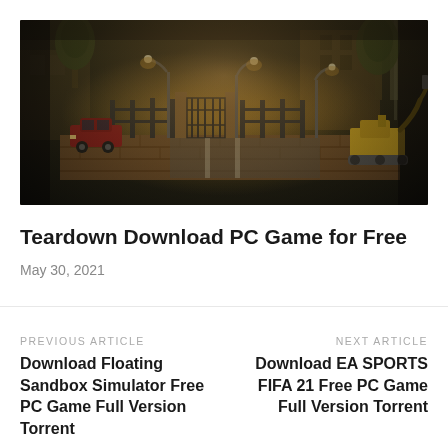[Figure (screenshot): Night-time video game screenshot showing a foggy industrial/residential area with brick walls, iron gates, street lamps, a red car, trees, and construction equipment (yellow excavator). Dark atmospheric lighting with warm lamp glow.]
Teardown Download PC Game for Free
May 30, 2021
PREVIOUS ARTICLE
Download Floating Sandbox Simulator Free PC Game Full Version Torrent
NEXT ARTICLE
Download EA SPORTS FIFA 21 Free PC Game Full Version Torrent